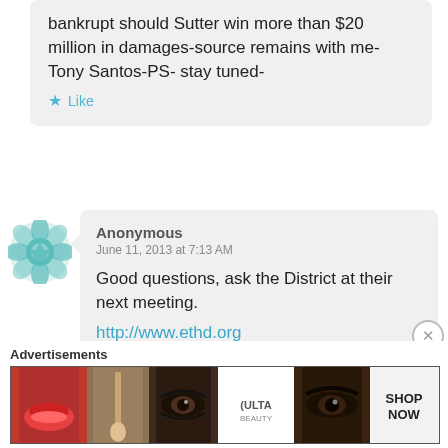bankrupt should Sutter win more than $20 million in damages-source remains with me- Tony Santos-PS- stay tuned-
Like
Anonymous
June 11, 2013 at 7:13 AM
Good questions, ask the District at their next meeting.
http://www.ethd.org
Advertisements